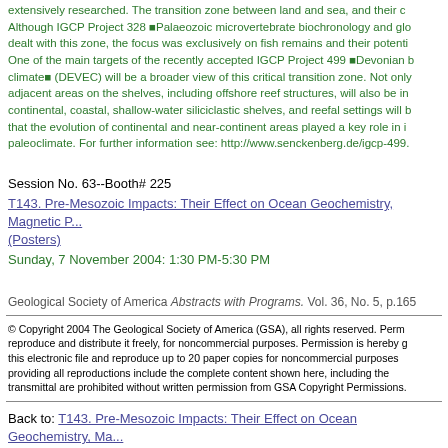extensively researched. The transition zone between land and sea, and their c... Although IGCP Project 328 Palaeozoic microvertebrate biochronology and glo... dealt with this zone, the focus was exclusively on fish remains and their potenti... One of the main targets of the recently accepted IGCP Project 499 Devonian b... climate (DEVEC) will be a broader view of this critical transition zone. Not only... adjacent areas on the shelves, including offshore reef structures, will also be in... continental, coastal, shallow-water siliciclastic shelves, and reefal settings will b... that the evolution of continental and near-continent areas played a key role in i... paleoclimate. For further information see: http://www.senckenberg.de/igcp-499.
Session No. 63--Booth# 225
T143. Pre-Mesozoic Impacts: Their Effect on Ocean Geochemistry, Magnetic P... (Posters)
Sunday, 7 November 2004: 1:30 PM-5:30 PM
Geological Society of America Abstracts with Programs. Vol. 36, No. 5, p.165
© Copyright 2004 The Geological Society of America (GSA), all rights reserved. Perm... reproduce and distribute it freely, for noncommercial purposes. Permission is hereby g... this electronic file and reproduce up to 20 paper copies for noncommercial purposes... providing all reproductions include the complete content shown here, including the... transmittal are prohibited without written permission from GSA Copyright Permissions.
Back to: T143. Pre-Mesozoic Impacts: Their Effect on Ocean Geochemistry, Ma... (Posters)
<< Previous Abstract | Next Abs...